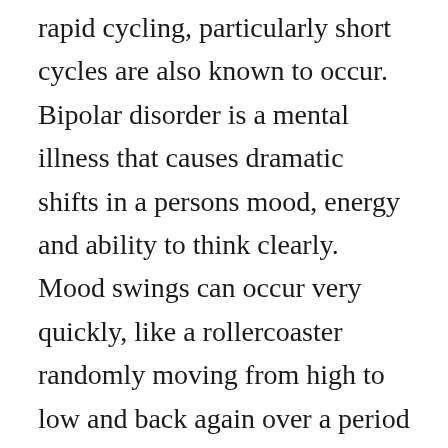rapid cycling, particularly short cycles are also known to occur. Bipolar disorder is a mental illness that causes dramatic shifts in a persons mood, energy and ability to think clearly. Mood swings can occur very quickly, like a rollercoaster randomly moving from high to low and back again over a period of days or even hours. Bipolar disorder soft bipolar new years resolution mutant gene denial to acceptance bipolar disorder rapid cycling call doctor dont be a victim roller coaster bp and heredity bipolar genetics getting help in mass.